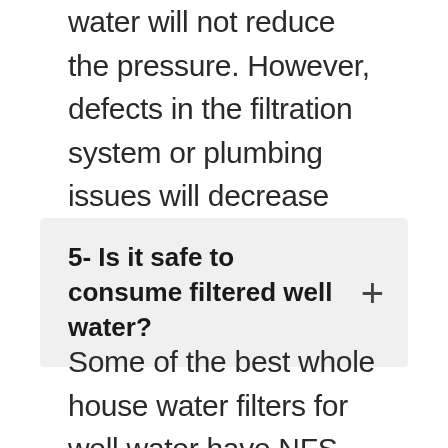water will not reduce the pressure. However, defects in the filtration system or plumbing issues will decrease water pressure in faucets.
5- Is it safe to consume filtered well water?
Some of the best whole house water filters for well water have NFS certification and guarantee the drinking-level quality of the water.